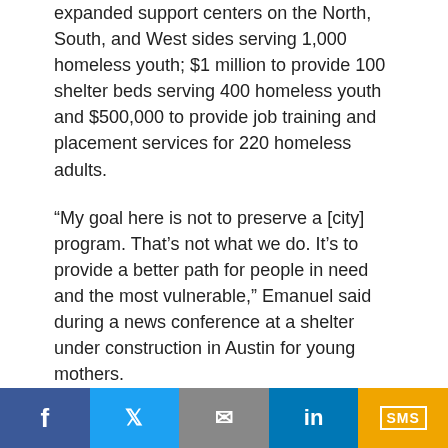expanded support centers on the North, South, and West sides serving 1,000 homeless youth; $1 million to provide 100 shelter beds serving 400 homeless youth and $500,000 to provide job training and placement services for 220 homeless adults.
“My goal here is not to preserve a [city] program. That’s not what we do. It’s to provide a better path for people in need and the most vulnerable,” Emanuel said during a news conference at a shelter under construction in Austin for young mothers.
“Catholic Charities is a better way to do it. It means we have $1.7 more million than we had before to target the kids [who] need it. So, 40 percent more young people who are homeless are now gonna get a bed, education, job training and the capacity they need to move on in their
Facebook | Twitter | Email | LinkedIn | SMS